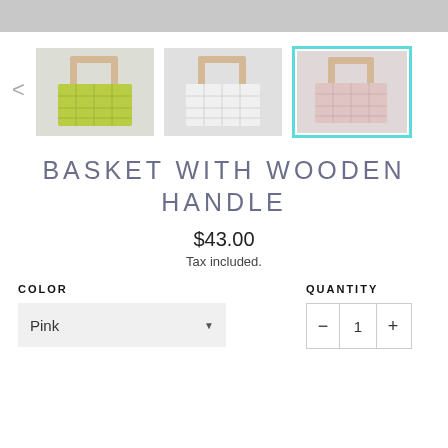[Figure (screenshot): E-commerce product page screenshot showing three basket thumbnails (green, white, pink), with the pink basket selected (cyan border). Below is the product title 'BASKET WITH WOODEN HANDLE', price $43.00, tax info, and color/quantity selectors.]
BASKET WITH WOODEN HANDLE
$43.00
Tax included.
COLOR
QUANTITY
Pink
1